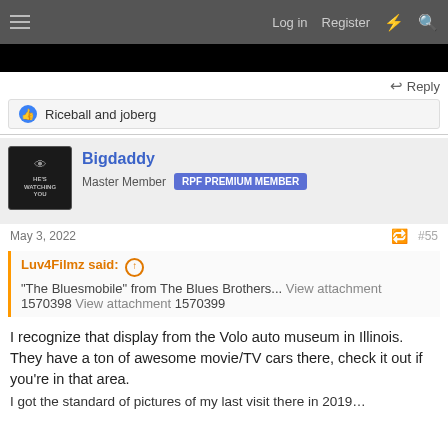Log in  Register
[Figure (photo): Black image banner at top of forum page]
Reply
Riceball and joberg
Bigdaddy
Master Member  RPF PREMIUM MEMBER
May 3, 2022  #55
Luv4Filmz said:
"The Bluesmobile" from The Blues Brothers... View attachment 1570398 View attachment 1570399
I recognize that display from the Volo auto museum in Illinois. They have a ton of awesome movie/TV cars there, check it out if you're in that area.
I got the standard of pictures of my last visit there in 2019…